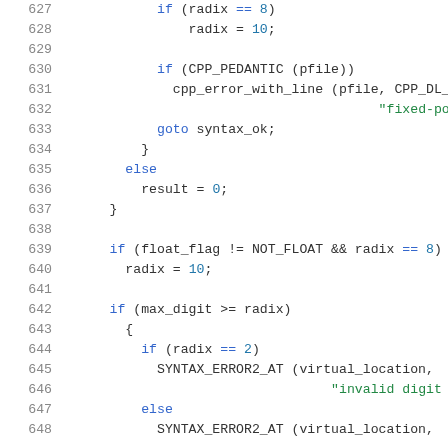Source code listing lines 627-648, C preprocessor code